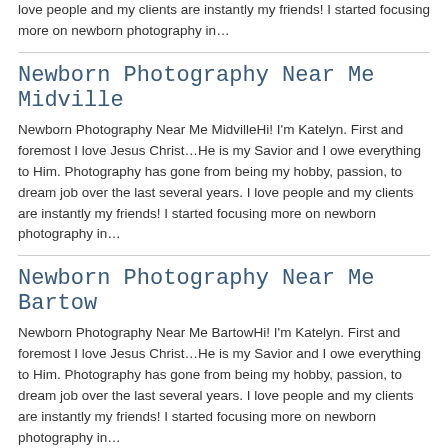love people and my clients are instantly my friends! I started focusing more on newborn photography in…
Newborn Photography Near Me Midville
Newborn Photography Near Me MidvilleHi! I'm Katelyn. First and foremost I love Jesus Christ…He is my Savior and I owe everything to Him. Photography has gone from being my hobby, passion, to dream job over the last several years. I love people and my clients are instantly my friends! I started focusing more on newborn photography in…
Newborn Photography Near Me Bartow
Newborn Photography Near Me BartowHi! I'm Katelyn. First and foremost I love Jesus Christ…He is my Savior and I owe everything to Him. Photography has gone from being my hobby, passion, to dream job over the last several years. I love people and my clients are instantly my friends! I started focusing more on newborn photography in…